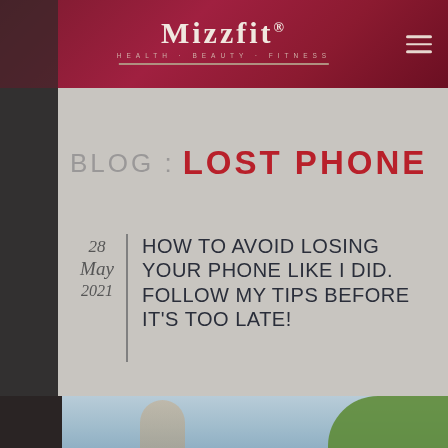Mizzfit HEALTH · BEAUTY · FITNESS
BLOG : LOST PHONE
HOW TO AVOID LOSING YOUR PHONE LIKE I DID. FOLLOW MY TIPS BEFORE IT'S TOO LATE!
28 May 2021
[Figure (photo): Woman outdoors with green trees and blue sky in background]